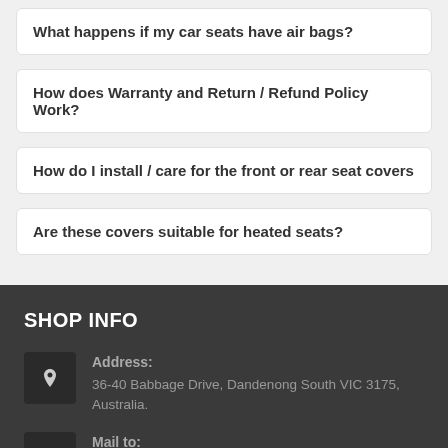What happens if my car seats have air bags?
How does Warranty and Return / Refund Policy Work?
How do I install / care for the front or rear seat covers
Are these covers suitable for heated seats?
SHOP INFO
Address:
36-40 Babbage Drive, Dandenong South VIC 3175, Australia.
Mail to:
info@supertrim.com.au
Phone: